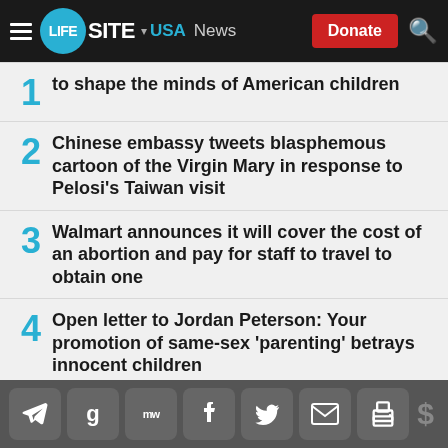LifeSite USA News
1 – to shape the minds of American children
2 – Chinese embassy tweets blasphemous cartoon of the Virgin Mary in response to Pelosi's Taiwan visit
3 – Walmart announces it will cover the cost of an abortion and pay for staff to travel to obtain one
4 – Open letter to Jordan Peterson: Your promotion of same-sex 'parenting' betrays innocent children
5 – Saskatchewan premier demands answers from Trudeau gov't over alleged trespassing on private [farmland]
Social share bar: Telegram, Google, MeWe, Facebook, Twitter, Email, Print | Donate ($)